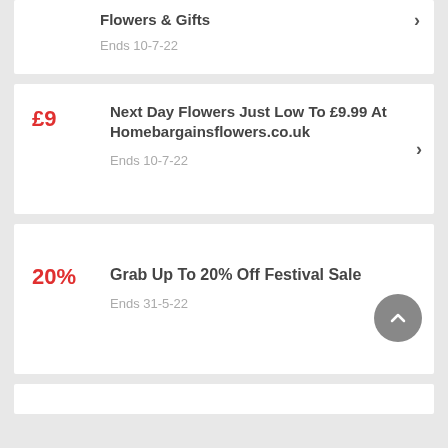Flowers & Gifts
Ends 10-7-22
£9
Next Day Flowers Just Low To £9.99 At Homebargainsflowers.co.uk
Ends 10-7-22
20%
Grab Up To 20% Off Festival Sale
Ends 31-5-22